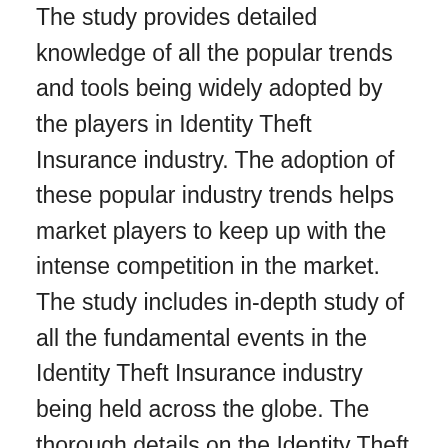The study provides detailed knowledge of all the popular trends and tools being widely adopted by the players in Identity Theft Insurance industry. The adoption of these popular industry trends helps market players to keep up with the intense competition in the market. The study includes in-depth study of all the fundamental events in the Identity Theft Insurance industry being held across the globe. The thorough details on the Identity Theft Insurance industry investments are added to the market report. The study provides readers with narrow study over the intense competition in the Identity Theft Insurance market. The Identity Theft Insurance market study provides readers with the lucrative opportunities for growth in the market. It also offers the data